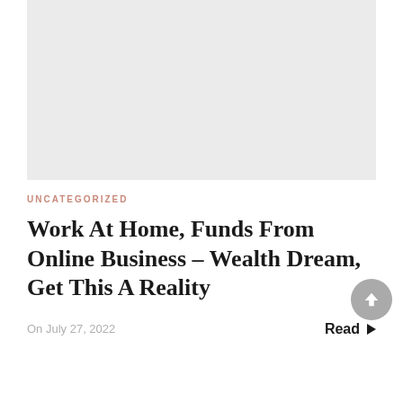[Figure (photo): Light gray placeholder image rectangle at top of page]
UNCATEGORIZED
Work At Home, Funds From Online Business – Wealth Dream, Get This A Reality
On July 27, 2022
Read